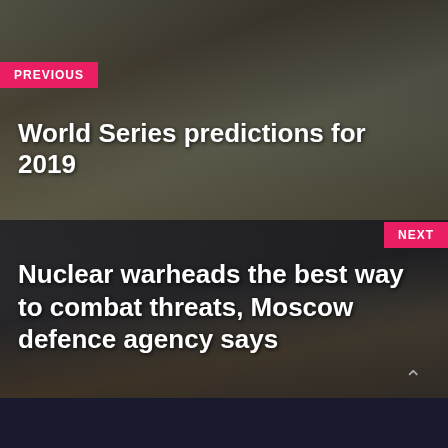[Figure (photo): Baseball crowd and players photo used as background for PREVIOUS article teaser]
World Series predictions for 2019
[Figure (photo): Crowd of people near a train, used as background for NEXT article teaser]
Nuclear warheads the best way to combat threats, Moscow defence agency says